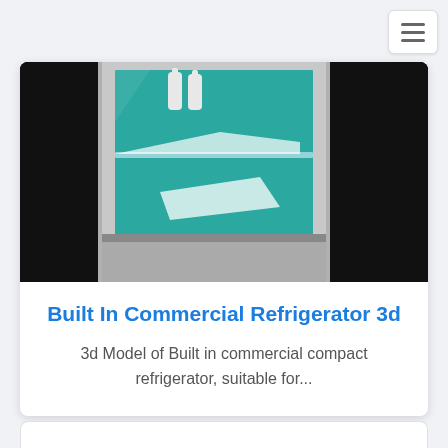[Figure (illustration): 3D illustration of a built-in commercial refrigerator with open glass door, teal interior, bottles on shelves, black side panels, gray frame.]
Built In Commercial Refrigerator 3d
3d Model of Built in commercial compact refrigerator, suitable for...